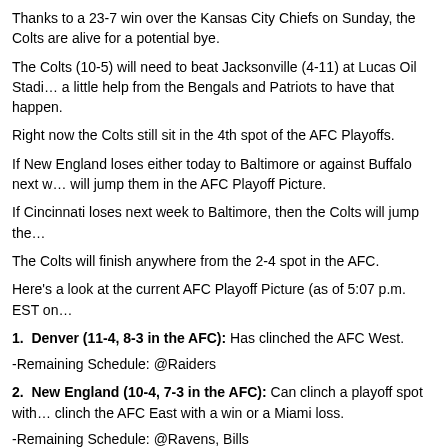Thanks to a 23-7 win over the Kansas City Chiefs on Sunday, the Colts are alive for a potential bye.
The Colts (10-5) will need to beat Jacksonville (4-11) at Lucas Oil Stadium and need a little help from the Bengals and Patriots to have that happen.
Right now the Colts still sit in the 4th spot of the AFC Playoffs.
If New England loses either today to Baltimore or against Buffalo next week, the Colts will jump them in the AFC Playoff Picture.
If Cincinnati loses next week to Baltimore, then the Colts will jump them.
The Colts will finish anywhere from the 2-4 spot in the AFC.
Here's a look at the current AFC Playoff Picture (as of 5:07 p.m. EST on
1. Denver (11-4, 8-3 in the AFC): Has clinched the AFC West.
-Remaining Schedule: @Raiders
2. New England (10-4, 7-3 in the AFC): Can clinch a playoff spot with a win, clinch the AFC East with a win or a Miami loss.
-Remaining Schedule: @Ravens, Bills
3. Cincinnati (10-5, 8-4 in the AFC): Has clinched a playoff spot. Can clinch with a win and a Baltimore loss.